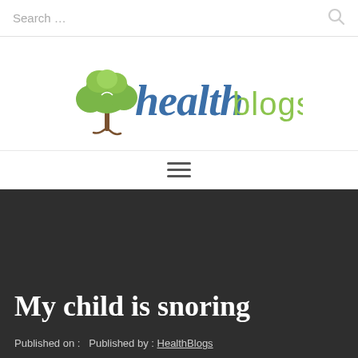Search ...
[Figure (logo): HealthBlogs logo with a green tree illustration and stylized script text 'health' in teal/blue and 'blogs' in green]
hamburger menu icon
My child is snoring
Published on :   Published by : HealthBlogs